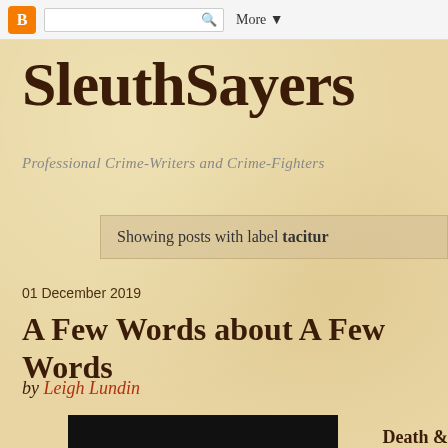Blogger toolbar with search and More button
SleuthSayers
Professional Crime-Writers and Crime-Fighters
Showing posts with label tacitur
01 December 2019
A Few Words about A Few Words
by Leigh Lundin
Death &